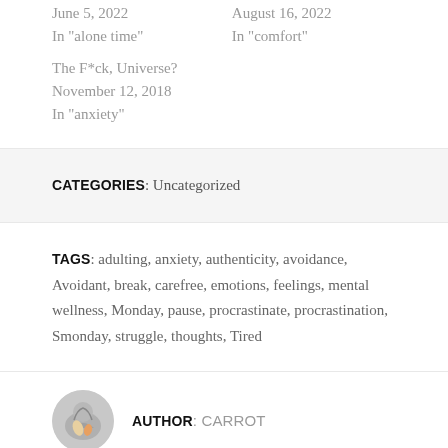June 5, 2022
In "alone time"
August 16, 2022
In "comfort"
The F*ck, Universe?
November 12, 2018
In "anxiety"
CATEGORIES: Uncategorized
TAGS: adulting, anxiety, authenticity, avoidance, Avoidant, break, carefree, emotions, feelings, mental wellness, Monday, pause, procrastinate, procrastination, Smonday, struggle, thoughts, Tired
AUTHOR: CARROT